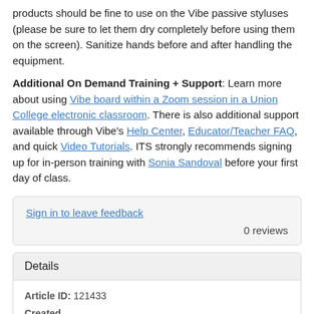products should be fine to use on the Vibe passive styluses (please be sure to let them dry completely before using them on the screen). Sanitize hands before and after handling the equipment.
Additional On Demand Training + Support: Learn more about using Vibe board within a Zoom session in a Union College electronic classroom. There is also additional support available through Vibe's Help Center, Educator/Teacher FAQ, and quick Video Tutorials. ITS strongly recommends signing up for in-person training with Sonia Sandoval before your first day of class.
Sign in to leave feedback
0 reviews
| Details |
| --- |
| Article ID: 121433 |
| Created |
| Tue 12/1/20 4:37 PM |